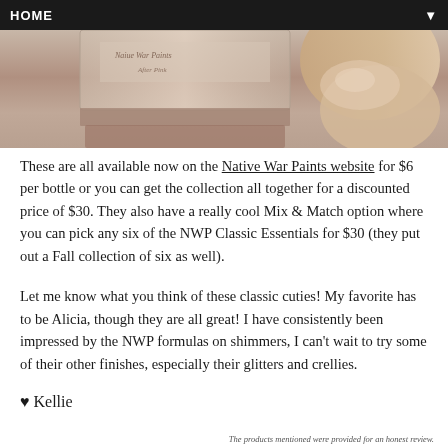HOME ▼
[Figure (photo): Close-up photo of a nail polish bottle bottom and a hand with shimmer nail polish applied, showing a pinkish/beige metallic shimmer color.]
These are all available now on the Native War Paints website for $6 per bottle or you can get the collection all together for a discounted price of $30. They also have a really cool Mix & Match option where you can pick any six of the NWP Classic Essentials for $30 (they put out a Fall collection of six as well).
Let me know what you think of these classic cuties! My favorite has to be Alicia, though they are all great! I have consistently been impressed by the NWP formulas on shimmers, I can't wait to try some of their other finishes, especially their glitters and crellies.
♥ Kellie
The products mentioned were provided for an honest review.